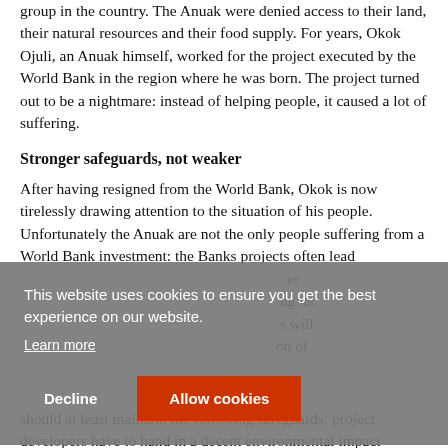group in the country. The Anuak were denied access to their land, their natural resources and their food supply. For years, Okok Ojuli, an Anuak himself, worked for the project executed by the World Bank in the region where he was born. The project turned out to be a nightmare: instead of helping people, it caused a lot of suffering.
Stronger safeguards, not weaker
After having resigned from the World Bank, Okok is now tirelessly drawing attention to the situation of his people. Unfortunately the Anuak are not the only people suffering from a World Bank investment: the Banks projects often lead
[Figure (screenshot): Cookie consent overlay with grey background. Text: 'This website uses cookies to ensure you get the best experience on our website.' with a 'Learn more' link. Two buttons: 'Decline' (text only) and 'Allow cookies' (red button).]
should at least maintain the following safeguards: project developers have to hand in a decent environmental impact